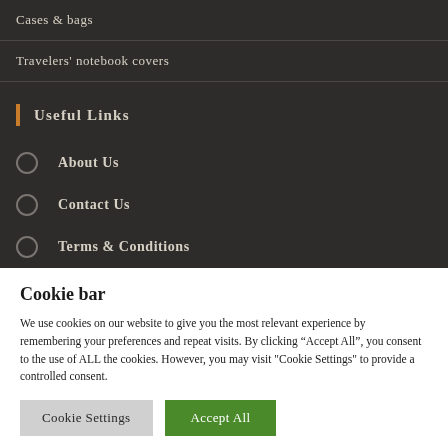Cases & bags
Travelers' notebook covers
Useful Links
About Us
Contact Us
Terms & Conditions
Cookie bar
We use cookies on our website to give you the most relevant experience by remembering your preferences and repeat visits. By clicking “Accept All”, you consent to the use of ALL the cookies. However, you may visit "Cookie Settings" to provide a controlled consent.
Cookie Settings | Accept All